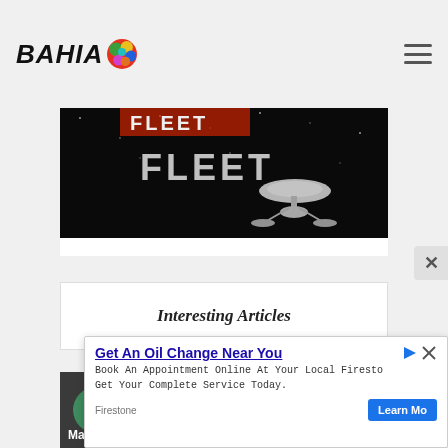BAHIA (logo with colorful splash)
[Figure (photo): Dark sci-fi image showing text 'FLEET' with a starship (resembling Star Trek Enterprise) on a dark space background]
Interesting Articles
[Figure (illustration): Microsoft Office suite icons (Excel, Word, etc.) as colored circles on dark background, partially visible]
Master The Microsoft Office Suite With
[Figure (screenshot): Advertisement overlay: 'Get An Oil Change Near You' - Book An Appointment Online At Your Local Firestone Get Your Complete Service Today. Firestone - Learn Mo[re]]
Get An Oil Change Near You
Book An Appointment Online At Your Local Firestone Get Your Complete Service Today.
Firestone
Learn Mo